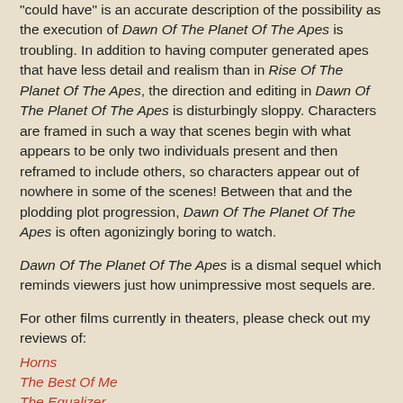'could have' is an accurate description of the possibility as the execution of Dawn Of The Planet Of The Apes is troubling. In addition to having computer generated apes that have less detail and realism than in Rise Of The Planet Of The Apes, the direction and editing in Dawn Of The Planet Of The Apes is disturbingly sloppy. Characters are framed in such a way that scenes begin with what appears to be only two individuals present and then reframed to include others, so characters appear out of nowhere in some of the scenes! Between that and the plodding plot progression, Dawn Of The Planet Of The Apes is often agonizingly boring to watch.
Dawn Of The Planet Of The Apes is a dismal sequel which reminds viewers just how unimpressive most sequels are.
For other films currently in theaters, please check out my reviews of:
Horns
The Best Of Me
The Equalizer
Life Of Crime
The Maze Runner